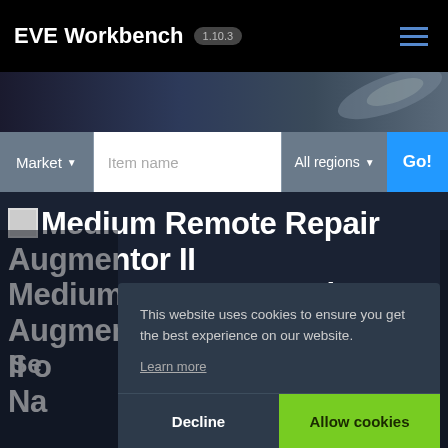EVE Workbench 1.10.3
[Figure (screenshot): Space background strip with dark spaceship silhouette]
Market ▾  Item name  All regions ▾  Go!
Medium Remote Repair Augmentor II
Medium Remote Repair Augmentor II o
Nav
Se
This website uses cookies to ensure you get the best experience on our website.
Learn more
Decline
Allow cookies